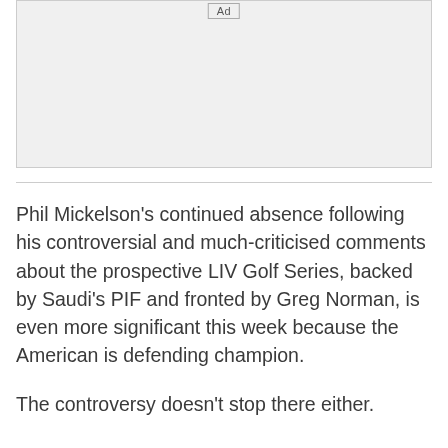[Figure (other): Advertisement placeholder box with 'Ad' label at top center]
Phil Mickelson's continued absence following his controversial and much-criticised comments about the prospective LIV Golf Series, backed by Saudi's PIF and fronted by Greg Norman, is even more significant this week because the American is defending champion.
The controversy doesn't stop there either.